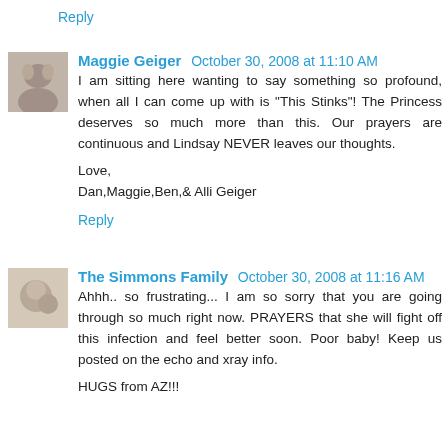Reply
Maggie Geiger  October 30, 2008 at 11:10 AM
I am sitting here wanting to say something so profound, when all I can come up with is "This Stinks"! The Princess deserves so much more than this. Our prayers are continuous and Lindsay NEVER leaves our thoughts.

Love,
Dan,Maggie,Ben,& Alli Geiger
Reply
The Simmons Family  October 30, 2008 at 11:16 AM
Ahhh.. so frustrating... I am so sorry that you are going through so much right now. PRAYERS that she will fight off this infection and feel better soon. Poor baby! Keep us posted on the echo and xray info.

HUGS from AZ!!!